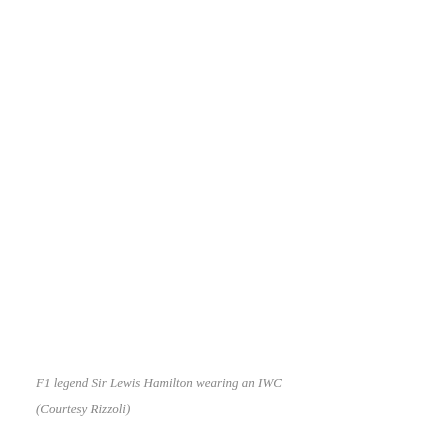[Figure (photo): Photograph of F1 legend Sir Lewis Hamilton wearing an IWC watch (image area appears blank/white in this rendering)]
F1 legend Sir Lewis Hamilton wearing an IWC
(Courtesy Rizzoli)